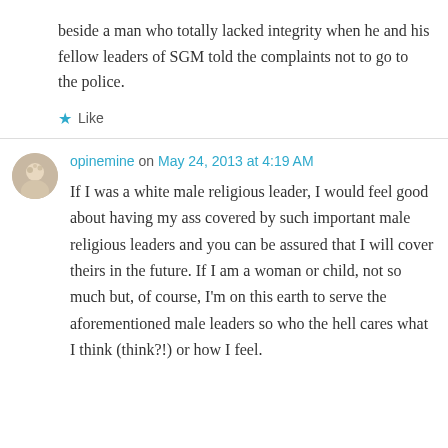beside a man who totally lacked integrity when he and his fellow leaders of SGM told the complaints not to go to the police.
★ Like
opinemine on May 24, 2013 at 4:19 AM
If I was a white male religious leader, I would feel good about having my ass covered by such important male religious leaders and you can be assured that I will cover theirs in the future. If I am a woman or child, not so much but, of course, I'm on this earth to serve the aforementioned male leaders so who the hell cares what I think (think?!) or how I feel.